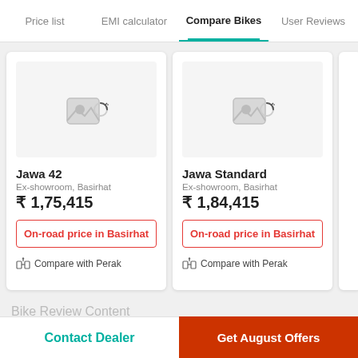Price list  EMI calculator  Compare Bikes  User Reviews
[Figure (screenshot): Jawa 42 bike card with loading image placeholder, price ₹1,75,415, On-road price in Basirhat button, Compare with Perak link]
[Figure (screenshot): Jawa Standard bike card with loading image placeholder, price ₹1,84,415, On-road price in Basirhat button, Compare with Perak link]
Bike Review Content
Contact Dealer
Get August Offers